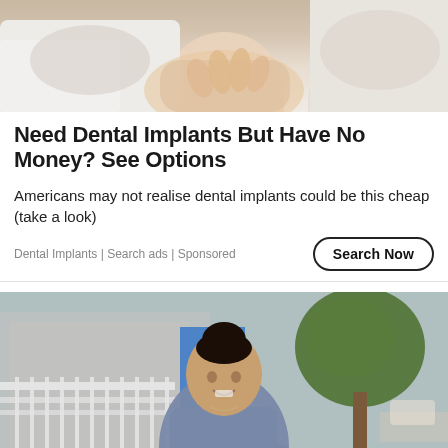[Figure (photo): Top portion of a dental/medical advertisement photo showing a person in a white coat with hands visible, close-up medical context]
Need Dental Implants But Have No Money? See Options
Americans may not realise dental implants could be this cheap (take a look)
Dental Implants | Search ads | Sponsored
Search Now
[Figure (photo): A smiling woman with dark hair in a bun wearing a light blue/grey fitted dress, standing on a city sidewalk with trees and buildings in the background]